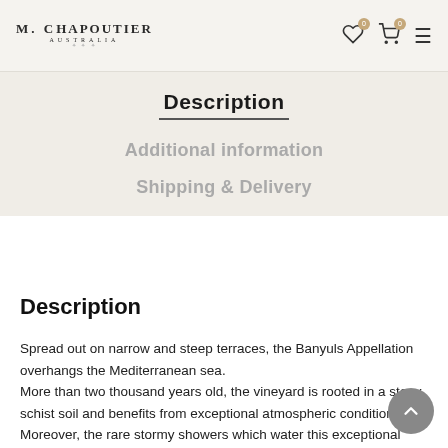M. Chapoutier Australia
Description
Additional information
Shipping & Delivery
Description
Spread out on narrow and steep terraces, the Banyuls Appellation overhangs the Mediterranean sea.
More than two thousand years old, the vineyard is rooted in a stony schist soil and benefits from exceptional atmospheric conditions. Moreover, the rare stormy showers which water this exceptional land, still hand worked, are quickly evacuated by an